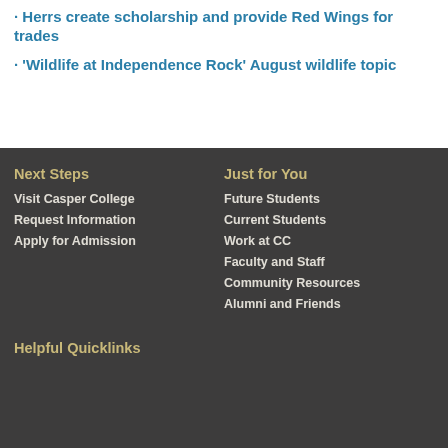· Herrs create scholarship and provide Red Wings for trades
· 'Wildlife at Independence Rock' August wildlife topic
Next Steps
Visit Casper College
Request Information
Apply for Admission
Just for You
Future Students
Current Students
Work at CC
Faculty and Staff
Community Resources
Alumni and Friends
Helpful Quicklinks